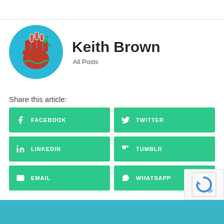[Figure (logo): Circular blue avatar with a red raised fist holding chemistry flasks and green bubbles, representing Keith Brown author profile]
Keith Brown
All Posts
Share this article:
FACEBOOK
TWITTER
LINKEDIN
TUMBLR
EMAIL
WHATSAPP
[Figure (screenshot): Bottom strip showing a blue banner and reCAPTCHA widget in lower right corner]